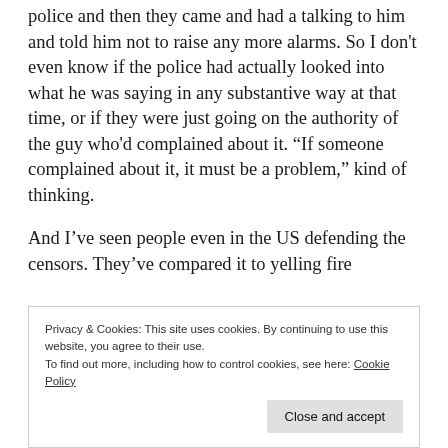police and then they came and had a talking to him and told him not to raise any more alarms. So I don't even know if the police had actually looked into what he was saying in any substantive way at that time, or if they were just going on the authority of the guy who'd complained about it. “If someone complained about it, it must be a problem,” kind of thinking.
And I've seen people even in the US defending the censors. They've compared it to yelling fire
Privacy & Cookies: This site uses cookies. By continuing to use this website, you agree to their use.
To find out more, including how to control cookies, see here: Cookie Policy